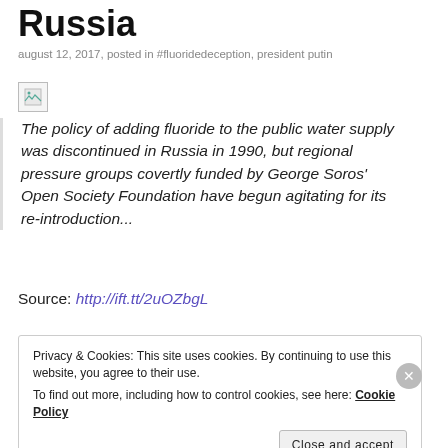Russia
august 12, 2017, posted in #fluoridedeception, president putin
[Figure (photo): Broken/missing image placeholder]
The policy of adding fluoride to the public water supply was discontinued in Russia in 1990, but regional pressure groups covertly funded by George Soros' Open Society Foundation have begun agitating for its re-introduction...
Source: http://ift.tt/2uOZbgL
Privacy & Cookies: This site uses cookies. By continuing to use this website, you agree to their use.
To find out more, including how to control cookies, see here: Cookie Policy
Close and accept